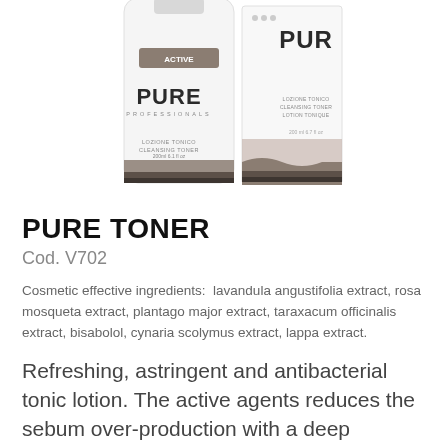[Figure (photo): Two PURE brand skincare toner products: a white bottle on the left and its packaging box on the right. Both feature the PURE logo and text reading 'LOZIONE TONICO CLEANSING TONER LOTION TONIQUE'. The bottle shows a brown/taupe label band near the bottom.]
PURE TONER
Cod. V702
Cosmetic effective ingredients:  lavandula angustifolia extract, rosa mosqueta extract, plantago major extract, taraxacum officinalis extract, bisabolol, cynaria scolymus extract, lappa extract.
Refreshing, astringent and antibacterial tonic lotion. The active agents reduces the sebum over-production with a deep cleaning